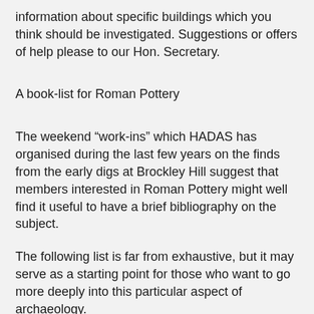information about specific buildings which you think should be investigated. Suggestions or offers of help please to our Hon. Secretary.
A book-list for Roman Pottery
The weekend “work-ins” which HADAS has organised during the last few years on the finds from the early digs at Brockley Hill suggest that members interested in Roman Pottery might well find it useful to have a brief bibliography on the subject.
The following list is far from exhaustive, but it may serve as a starting point for those who want to go more deeply into this particular aspect of archaeology.